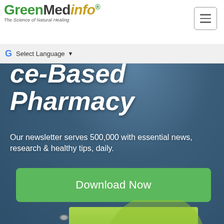[Figure (logo): GreenMedInfo logo with tagline 'The Science of Natural Healing']
Select Language
ce-Based Pharmacy
Our newsletter serves 500,000 with essential news, research & healthy tips, daily.
Download Now
[Figure (photo): GreenMedInfo Nature's Pharmacy spiral-bound book with green leaf cover and chemistry flask]